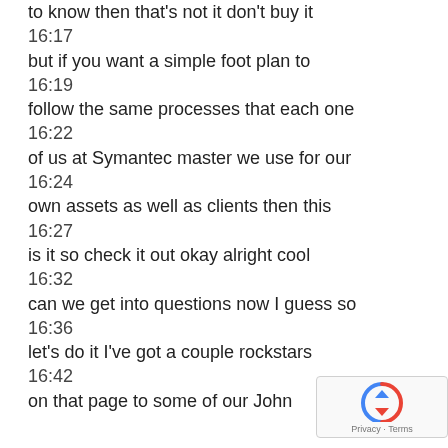to know then that's not it don't buy it
16:17
but if you want a simple foot plan to
16:19
follow the same processes that each one
16:22
of us at Symantec master we use for our
16:24
own assets as well as clients then this
16:27
is it so check it out okay alright cool
16:32
can we get into questions now I guess so
16:36
let's do it I've got a couple rockstars
16:42
on that page to some of our John